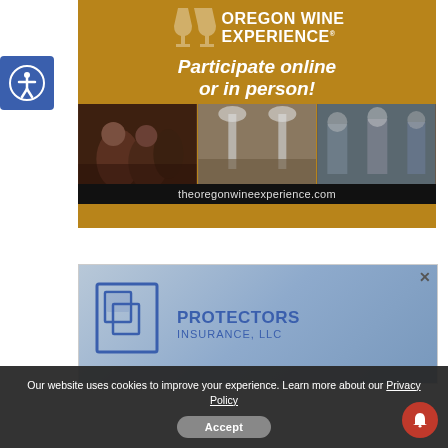[Figure (illustration): Accessibility button with person icon in blue square, top left]
[Figure (infographic): Oregon Wine Experience advertisement with golden/brown background, wine glass icons, text 'OREGON WINE EXPERIENCE', 'Participate online or in person!', three photos of wine events, and URL theoregonwineexperience.com]
[Figure (logo): Protectors Insurance, LLC advertisement with blue gradient background, P logo mark, and company name in blue text]
Our website uses cookies to improve your experience. Learn more about our Privacy Policy
Accept